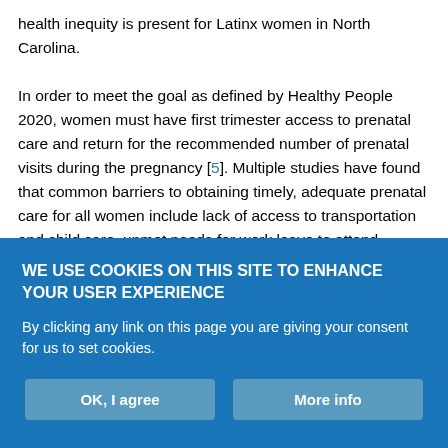health inequity is present for Latinx women in North Carolina. In order to meet the goal as defined by Healthy People 2020, women must have first trimester access to prenatal care and return for the recommended number of prenatal visits during the pregnancy [5]. Multiple studies have found that common barriers to obtaining timely, adequate prenatal care for all women include lack of access to transportation and child care, unmet needs for work leave to attend appointments, lack of knowledge of pregnancy, inability to find a clinic or obtain a timely appointment, difficulty obtaining insurance, and the inability to pay for care [7, 8]. Not only can accessing prenatal care be challenging, finding culturally competent, quality
WE USE COOKIES ON THIS SITE TO ENHANCE YOUR USER EXPERIENCE
By clicking any link on this page you are giving your consent for us to set cookies.